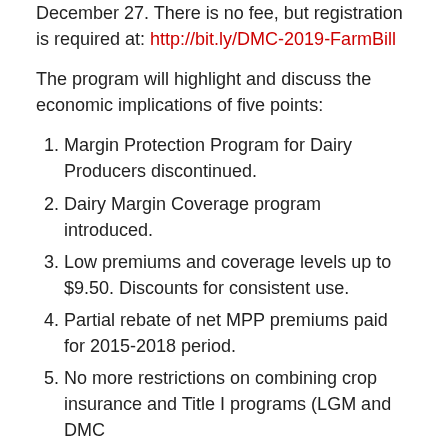December 27. There is no fee, but registration is required at: http://bit.ly/DMC-2019-FarmBill
The program will highlight and discuss the economic implications of five points:
Margin Protection Program for Dairy Producers discontinued.
Dairy Margin Coverage program introduced.
Low premiums and coverage levels up to $9.50. Discounts for consistent use.
Partial rebate of net MPP premiums paid for 2015-2018 period.
No more restrictions on combining crop insurance and Title I programs (LGM and DMC
There will be time for questions at the end of the presentation.
The program is sponsored by I-29 Moo University and Minnesota Milk. For more information contact your state dairy specialist. In Northwest Iowa that is Fred M. Hall. He